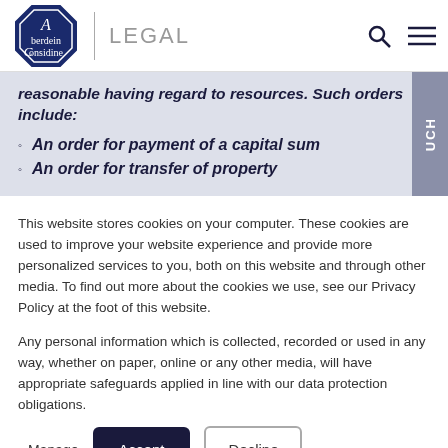Aberdein Considine LEGAL
reasonable having regard to resources. Such orders include:
An order for payment of a capital sum
An order for transfer of property
This website stores cookies on your computer. These cookies are used to improve your website experience and provide more personalized services to you, both on this website and through other media. To find out more about the cookies we use, see our Privacy Policy at the foot of this website.
Any personal information which is collected, recorded or used in any way, whether on paper, online or any other media, will have appropriate safeguards applied in line with our data protection obligations.